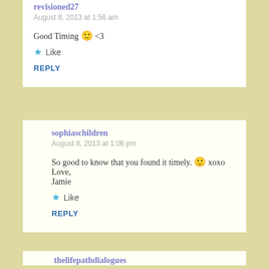revisioned27
August 8, 2013 at 1:56 am
Good Timing 🙂 <3
★ Like
REPLY
sophiaschildren
August 8, 2013 at 1:06 pm
So good to know that you found it timely. 🙂 xoxo Love, Jamie
★ Like
REPLY
thelifepathdialogues